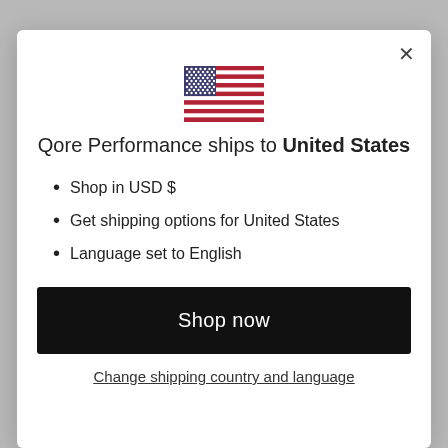[Figure (illustration): US flag emoji/illustration centered at top of modal dialog]
Qore Performance ships to United States
Shop in USD $
Get shipping options for United States
Language set to English
Shop now
Change shipping country and language